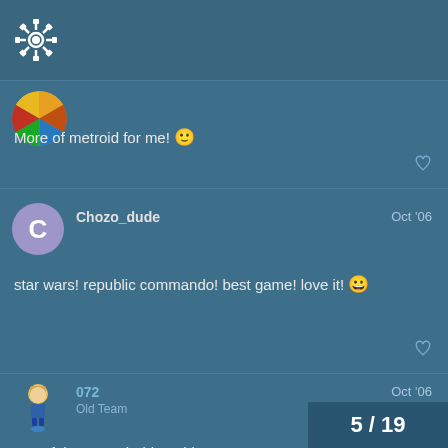Forum header with logo/gear icon
More of metroid for me! 🙂
Chozo_dude — Oct '06
star wars! republic commando! best game! love it! 😀
072 — Old Team — Oct '06
Out of those, probably Zelda.
5 / 19